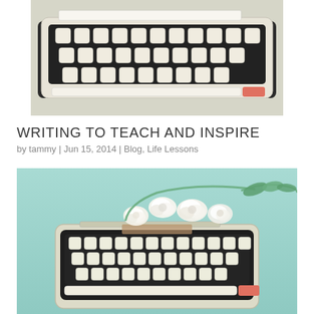[Figure (photo): Close-up photo of a vintage cream-colored typewriter keyboard, viewed from above, showing rows of round white keys on a dark body, with a white paper bar and a salmon/coral accent at the right end.]
WRITING TO TEACH AND INSPIRE
by tammy | Jun 15, 2014 | Blog, Life Lessons
[Figure (photo): Vintage cream and teal typewriter on a mint/teal background with a spray of white flowers (carnations) laid across the top of the machine, showing the full keyboard with round white keys, a white platen bar, and a salmon/coral accent at the bottom right.]